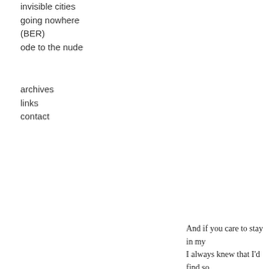invisible cities
going nowhere (BER)
ode to the nude
archives
links
contact
And if you care to stay in my
I always knew that I'd find so
The pixartix folks did it again
places & photographers.
posted: Juli 14, 2013
under: black & white, pictures
tags: 35mm, b & w, folks, hiatus, i
10 Responses to “my little c
Frau Blau sagt:
14. Juli 2013 um 13:0
wenn der Seehund so
Plakatwand, und so b